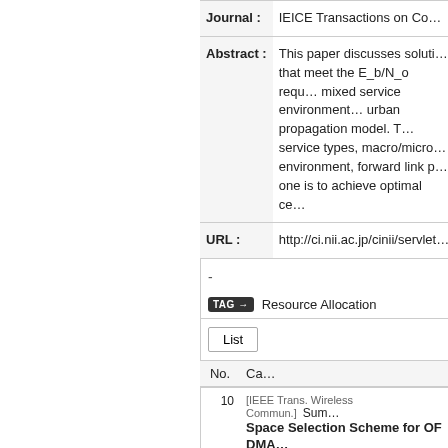| Field | Value |
| --- | --- |
| Journal : | IEICE Transactions on Co… |
| Abstract : | This paper discusses soluti… that meet the E_b/N_o requ… mixed service environment… urban propagation model. T… service types, macro/micro… environment, forward link p… one is to achieve optimal ce… |
| URL : | http://ci.nii.ac.jp/cinii/servlet… |
-
TAG → Resource Allocation
List
| No. | Ca… |
| --- | --- |
| 10 | [IEEE Trans. Wireless Commun.]  Sum… Space Selection Scheme for OFDMA… |
| 9 | [IEEE Trans. Wireless Commun.]  Hyu… r Allocation and Outage Analysis for … 2012 |